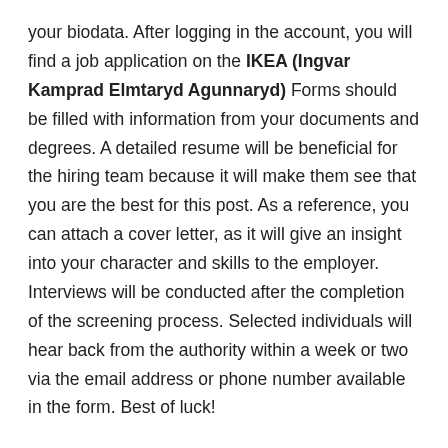your biodata. After logging in the account, you will find a job application on the IKEA (Ingvar Kamprad Elmtaryd Agunnaryd) Forms should be filled with information from your documents and degrees. A detailed resume will be beneficial for the hiring team because it will make them see that you are the best for this post. As a reference, you can attach a cover letter, as it will give an insight into your character and skills to the employer. Interviews will be conducted after the completion of the screening process. Selected individuals will hear back from the authority within a week or two via the email address or phone number available in the form. Best of luck!
Important Note :
We Are Not Recruiter , We Just Share All Jobs and All Jobs Are From Various Job Portals They Posting F...